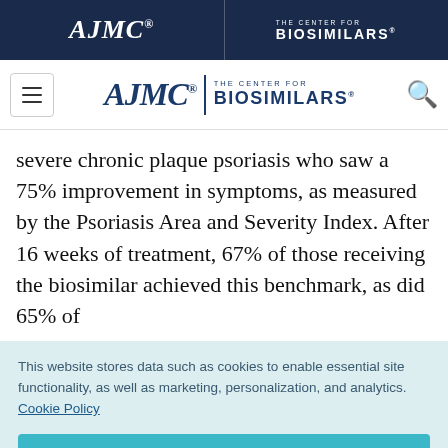AJMC | THE CENTER FOR BIOSIMILARS
[Figure (logo): AJMC | The Center for Biosimilars navigation bar with hamburger menu and search icon]
severe chronic plaque psoriasis who saw a 75% improvement in symptoms, as measured by the Psoriasis Area and Severity Index. After 16 weeks of treatment, 67% of those receiving the biosimilar achieved this benchmark, as did 65% of
This website stores data such as cookies to enable essential site functionality, as well as marketing, personalization, and analytics. Cookie Policy
Accept
Deny